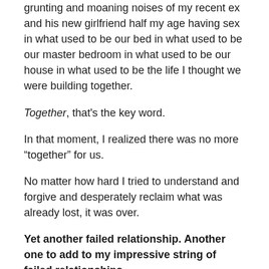grunting and moaning noises of my recent ex and his new girlfriend half my age having sex in what used to be our bed in what used to be our master bedroom in what used to be our house in what used to be the life I thought we were building together.
Together, that's the key word.
In that moment, I realized there was no more “together” for us.
No matter how hard I tried to understand and forgive and desperately reclaim what was already lost, it was over.
Yet another failed relationship. Another one to add to my impressive string of failed relationships.
And another piece of my heart – and hope – crushed.
It took me a long time to get over that one. And I had